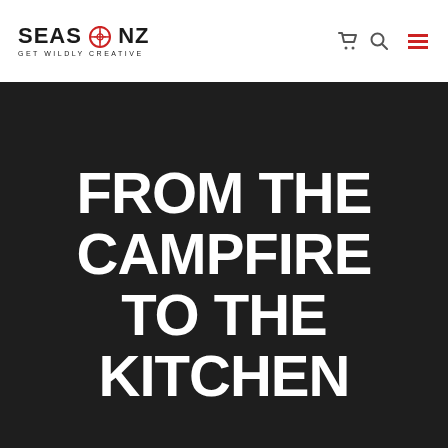SEASONZ - GET WILDLY CREATIVE
FROM THE CAMPFIRE TO THE KITCHEN